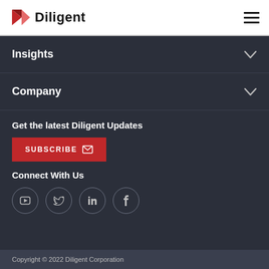Diligent
Insights
Company
Get the latest Diligent Updates
SUBSCRIBE
Connect With Us
Copyright © 2022 Diligent Corporation